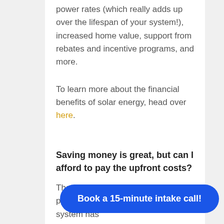power rates (which really adds up over the lifespan of your system!), increased home value, support from rebates and incentive programs, and more.
To learn more about the financial benefits of solar energy, head over here.
Saving money is great, but can I afford to pay the upfront costs?
Thanks to new rebate and incentive p[rograms,] your solar energy system has
Book a 15-minute intake call!